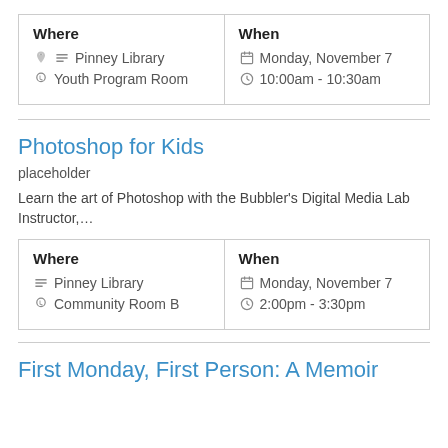| Where | When |
| --- | --- |
| Pinney Library / Youth Program Room | Monday, November 7 / 10:00am - 10:30am |
Photoshop for Kids
placeholder
Learn the art of Photoshop with the Bubbler's Digital Media Lab Instructor,…
| Where | When |
| --- | --- |
| Pinney Library / Community Room B | Monday, November 7 / 2:00pm - 3:30pm |
First Monday, First Person: A Memoir